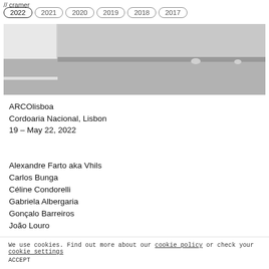// cramer
2022
2021
2020
2019
2018
2017
[Figure (photo): Grayscale photograph showing a floor and white wall corner, with two small objects visible at the base of the wall.]
ARCOlisboa
Cordoaria Nacional, Lisbon
19 – May 22, 2022
Alexandre Farto aka Vhils
Carlos Bunga
Céline Condorelli
Gabriela Albergaria
Gonçalo Barreiros
João Louro
We use cookies. Find out more about our cookie policy or check your cookie settings
ACCEPT